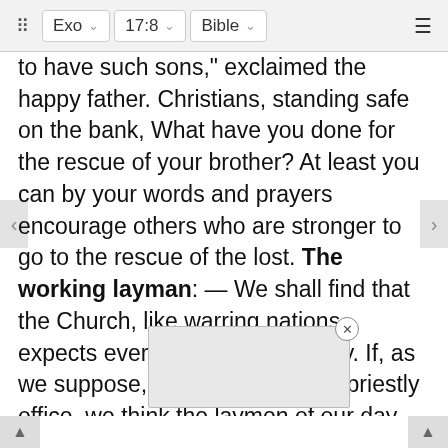Exo  17:8  Bible
to have such sons," exclaimed the happy father. Christians, standing safe on the bank, What have you done for the rescue of your brother? At least you can by your words and prayers encourage others who are stronger to go to the rescue of the lost. The working layman: — We shall find that the Church, like warring nations, expects every man to do his duty. If, as we suppose, Hur was not of the priestly office, we think the laymen of our day may find that this Scripture was written for their learning. They are, we fear, very far from walking in the steps of Hur, and from following his example. It will be noticed that it was a personal service in which he was engaged, one that required not only labour but the sacrifice of his time. Until the going down of the sun he stood by Moses and stayed up his hands. When he had a part with Aaron he did not content [himself, but endeavoured the] ne [cessary work] to win